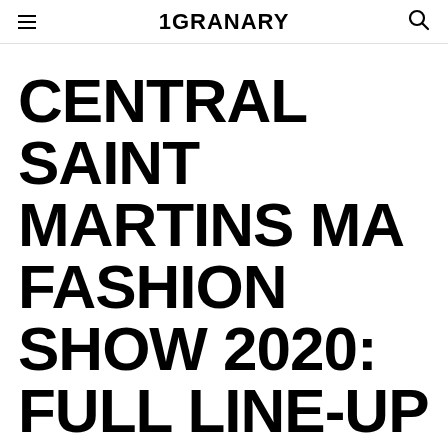1GRANARY
CENTRAL SAINT MARTINS MA FASHION SHOW 2020: FULL LINE-UP